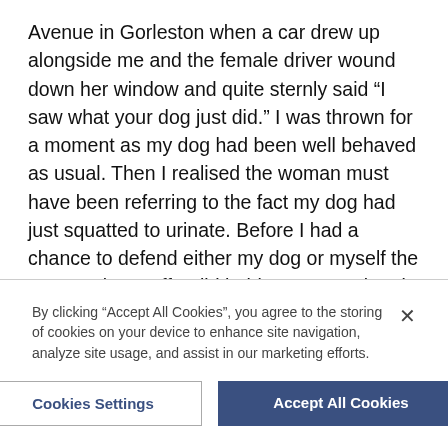Avenue in Gorleston when a car drew up alongside me and the female driver wound down her window and quite sternly said “I saw what your dog just did.” I was thrown for a moment as my dog had been well behaved as usual. Then I realised the woman must have been referring to the fact my dog had just squatted to urinate. Before I had a chance to defend either my dog or myself the woman drove off. I did hold up my poo bag in the vain hope she would see I had in fact cleared up the mess my dog had made earlier on the walk, but to no avail. I consider myself to be a responsible dog owner - my dog is vaccinated,
By clicking “Accept All Cookies”, you agree to the storing of cookies on your device to enhance site navigation, analyze site usage, and assist in our marketing efforts.
Cookies Settings
Accept All Cookies